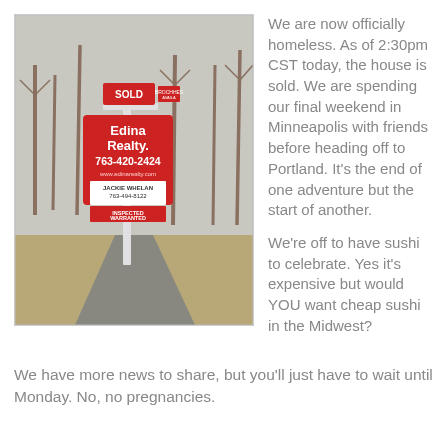[Figure (photo): Real estate yard sign for Edina Realty with a red SOLD sign on top, posted in front of a house yard with bare winter trees and a driveway in the background. Sign shows: Edina Realty, 763-420-2424, www.edinarealty.com, JACKIE WHELAN 763-494-8122, INSPECTED WARRANTED]
We are now officially homeless. As of 2:30pm CST today, the house is sold. We are spending our final weekend in Minneapolis with friends before heading off to Portland. It's the end of one adventure but the start of another.
We're off to have sushi to celebrate. Yes it's expensive but would YOU want cheap sushi in the Midwest?
We have more news to share, but you'll just have to wait until Monday. No, no pregnancies.